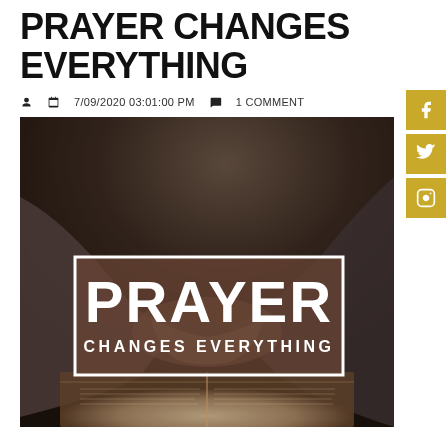PRAYER CHANGES EVERYTHING
7/09/2020 03:01:00 PM  1 COMMENT
[Figure (photo): Person praying with hands clasped over an open Bible; overlay box with white border and semi-transparent brown background reads 'PRAYER CHANGES EVERYTHING' in large white bold text]